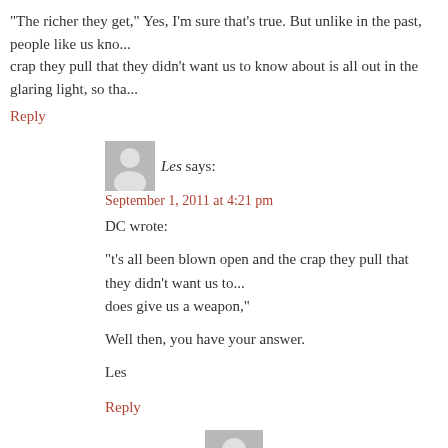“The richer they get,” Yes, I’m sure that’s true. But unlike in the past, people like us kno... crap they pull that they didn’t want us to know about is all out in the glaring light, so tha...
Reply
Les says:
September 1, 2011 at 4:21 pm
DC wrote:
“t’s all been blown open and the crap they pull that they didn’t want us to... does give us a weapon,”
Well then, you have your answer.
Les
Reply
Don Coyer says:
September 2, 2011 at 2:45 am
That’s no answer. Nobody denies that record companies... with unpaid royalties, or no royalties at all. ANY busines... will take advantage of people’s ignorance, they’re not go... trying to make money off of you. We still have to deal w...
Nobody can force you to sign a deal, or bargain away yo...